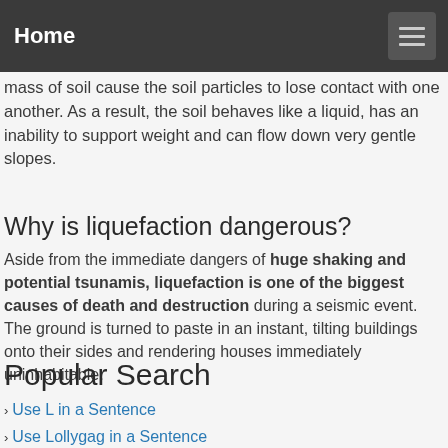Home
mass of soil cause the soil particles to lose contact with one another. As a result, the soil behaves like a liquid, has an inability to support weight and can flow down very gentle slopes.
Why is liquefaction dangerous?
Aside from the immediate dangers of huge shaking and potential tsunamis, liquefaction is one of the biggest causes of death and destruction during a seismic event. The ground is turned to paste in an instant, tilting buildings onto their sides and rendering houses immediately uninhabitable.
Popular Search
Use L in a Sentence
Use Lollygag in a Sentence